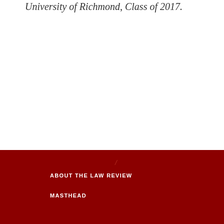University of Richmond, Class of 2017.
ABOUT THE LAW REVIEW
MASTHEAD